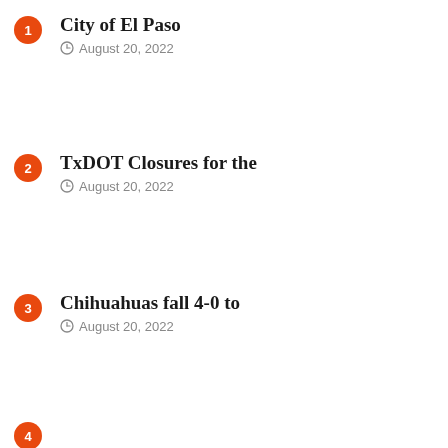City of El Paso — August 20, 2022
TxDOT Closures for the — August 20, 2022
Chihuahuas fall 4-0 to — August 20, 2022
4 — (partial, cut off)